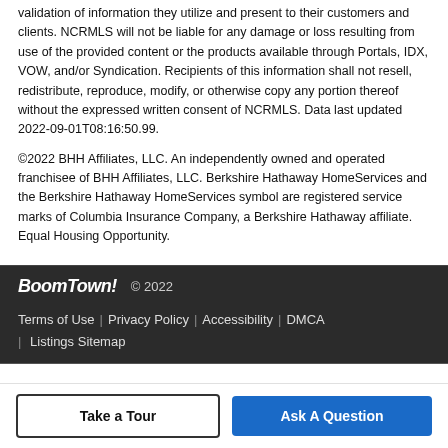validation of information they utilize and present to their customers and clients. NCRMLS will not be liable for any damage or loss resulting from use of the provided content or the products available through Portals, IDX, VOW, and/or Syndication. Recipients of this information shall not resell, redistribute, reproduce, modify, or otherwise copy any portion thereof without the expressed written consent of NCRMLS. Data last updated 2022-09-01T08:16:50.99.
©2022 BHH Affiliates, LLC. An independently owned and operated franchisee of BHH Affiliates, LLC. Berkshire Hathaway HomeServices and the Berkshire Hathaway HomeServices symbol are registered service marks of Columbia Insurance Company, a Berkshire Hathaway affiliate. Equal Housing Opportunity.
BoomTown! © 2022 | Terms of Use | Privacy Policy | Accessibility | DMCA | Listings Sitemap
Take a Tour | Ask A Question